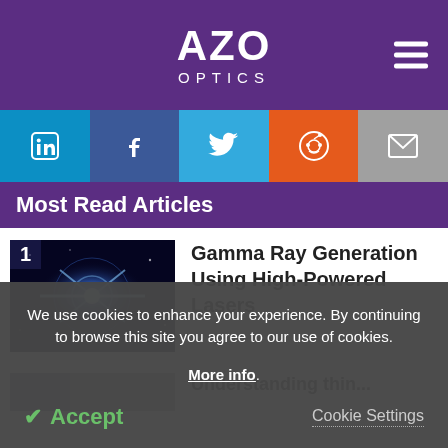AZO OPTICS
[Figure (screenshot): Social media share buttons: LinkedIn, Facebook, Twitter, Reddit, Email]
Most Read Articles
[Figure (photo): Blue glowing cosmic/laser beam image representing Gamma Ray Generation article thumbnail]
Gamma Ray Generation Using High-Powered Lasers
We use cookies to enhance your experience. By continuing to browse this site you agree to our use of cookies. More info.
Accept   Cookie Settings